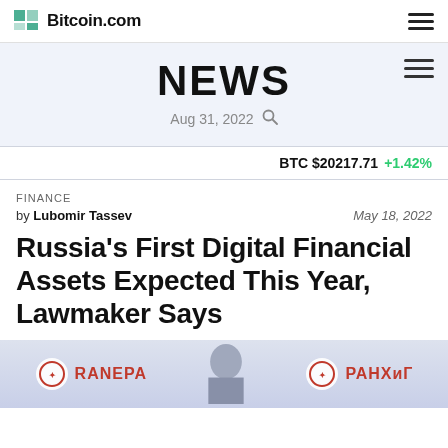Bitcoin.com
NEWS
Aug 31, 2022
BTC $20217.71 +1.42%
FINANCE
by Lubomir Tassev    May 18, 2022
Russia's First Digital Financial Assets Expected This Year, Lawmaker Says
[Figure (photo): Photo strip showing RANEPA and RANXiG logos with a person in the foreground]